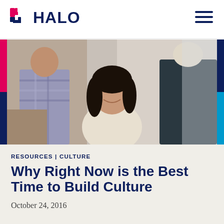HALO
[Figure (photo): Three people in an office or casual workspace having a conversation. A woman with dark hair is smiling broadly at the center. A man in a plaid shirt is to her left, and another person with light hair is to the right with their back to the camera.]
RESOURCES | CULTURE
Why Right Now is the Best Time to Build Culture
October 24, 2016